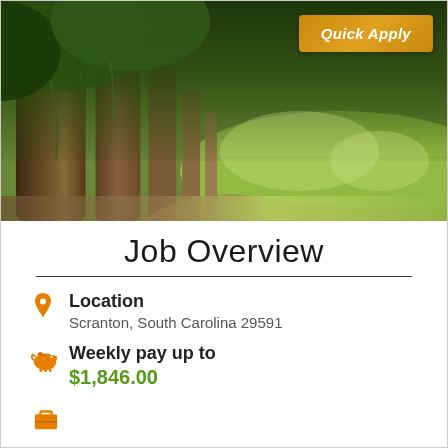[Figure (photo): A scenic tree-lined avenue with large oak trees forming a canopy, green grass visible in the background, with a 'Quick Apply' button overlay in the top right corner.]
Job Overview
Location
Scranton, South Carolina 29591
Weekly pay up to
$1,846.00